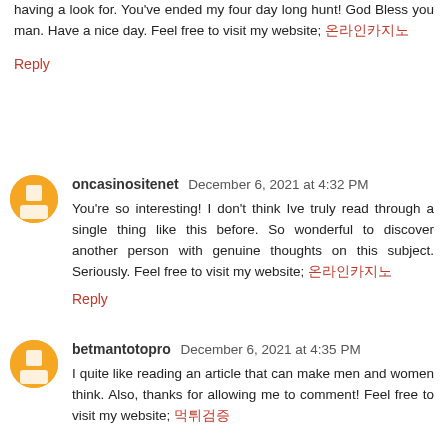having a look for. You've ended my four day long hunt! God Bless you man. Have a nice day. Feel free to visit my website; 온라인카지노
Reply
oncasinositenet December 6, 2021 at 4:32 PM
You're so interesting! I don't think Ive truly read through a single thing like this before. So wonderful to discover another person with genuine thoughts on this subject. Seriously. Feel free to visit my website; 온라인카지노
Reply
betmantotopro December 6, 2021 at 4:35 PM
I quite like reading an article that can make men and women think. Also, thanks for allowing me to comment! Feel free to visit my website; 먹튀검증